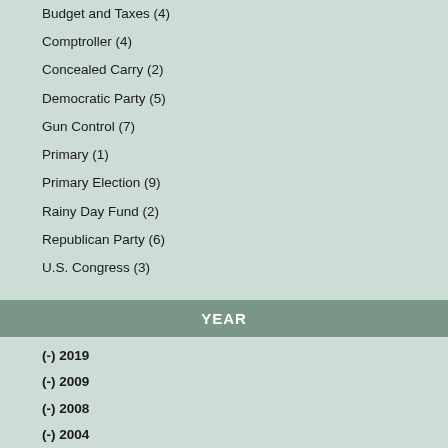Budget and Taxes (4)
Comptroller (4)
Concealed Carry (2)
Democratic Party (5)
Gun Control (7)
Primary (1)
Primary Election (9)
Rainy Day Fund (2)
Republican Party (6)
U.S. Congress (3)
YEAR
(-) 2019
(-) 2009
(-) 2008
(-) 2004
(-) 2003
2020 (1)
2018 (2)